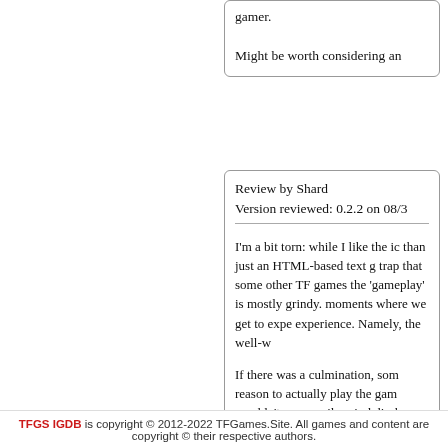gamer.

Might be worth considering an
Review by Shard
Version reviewed: 0.2.2 on 08/3
I'm a bit torn: while I like the ic than just an HTML-based text g trap that some other TF games the 'gameplay' is mostly grindy. moments where we get to expe experience. Namely, the well-w

If there was a culmination, som reason to actually play the gam wouldn't necessarily mind disab non-patreon players, but with th feels more like forcing grind or pay.
TFGS IGDB is copyright © 2012-2022 TFGames.Site. All games and content are copyright © their respective authors.